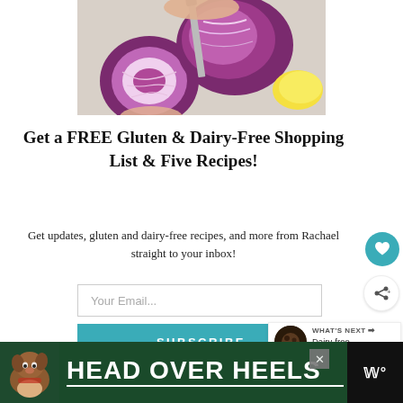[Figure (photo): Hands cutting a red/purple cabbage in half on a cutting board, with a lemon visible in the background.]
Get a FREE Gluten & Dairy-Free Shopping List & Five Recipes!
Get updates, gluten and dairy-free recipes, and more from Rachael straight to your inbox!
Your Email...
SUBSCRIBE
[Figure (infographic): WHAT'S NEXT panel showing a thumbnail image of chocolate and text 'Dairy-free Chocolate...']
[Figure (other): Advertisement banner: HEAD OVER HEELS text with a dog image on a dark green background, with a close button and a logo on the right.]